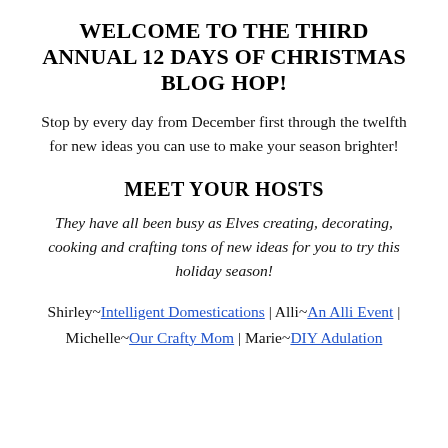WELCOME TO THE THIRD ANNUAL 12 DAYS OF CHRISTMAS BLOG HOP!
Stop by every day from December first through the twelfth for new ideas you can use to make your season brighter!
MEET YOUR HOSTS
They have all been busy as Elves creating, decorating, cooking and crafting tons of new ideas for you to try this holiday season!
Shirley~Intelligent Domestications | Alli~An Alli Event | Michelle~Our Crafty Mom | Marie~DIY Adulation